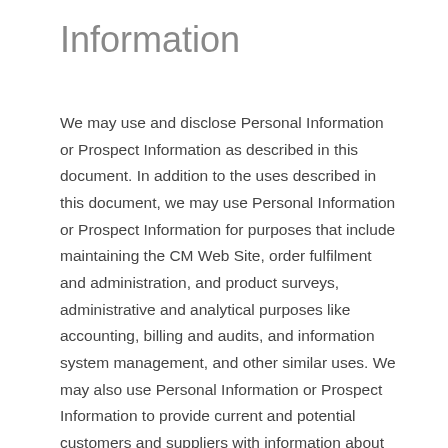Information
We may use and disclose Personal Information or Prospect Information as described in this document. In addition to the uses described in this document, we may use Personal Information or Prospect Information for purposes that include maintaining the CM Web Site, order fulfilment and administration, and product surveys, administrative and analytical purposes like accounting, billing and audits, and information system management, and other similar uses. We may also use Personal Information or Prospect Information to provide current and potential customers and suppliers with information about our services.